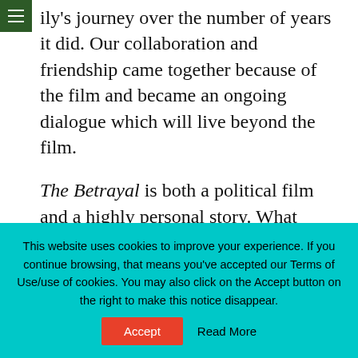ily's journey over the number of years it did. Our collaboration and friendship came together because of the film and became an ongoing dialogue which will live beyond the film.
The Betrayal is both a political film and a highly personal story. What kind of balance did you strive for?
This balance was the most difficult challenge in trying to structure the film.
This website uses cookies to improve your experience. If you continue browsing, that means you've accepted our Terms of Use/use of cookies. You may also click on the Accept button on the right to make this notice disappear.